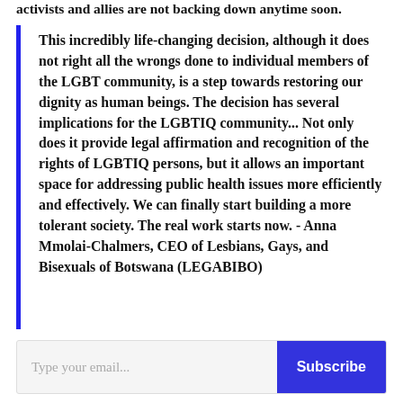activists and allies are not backing down anytime soon.
This incredibly life-changing decision, although it does not right all the wrongs done to individual members of the LGBT community, is a step towards restoring our dignity as human beings. The decision has several implications for the LGBTIQ community... Not only does it provide legal affirmation and recognition of the rights of LGBTIQ persons, but it allows an important space for addressing public health issues more efficiently and effectively. We can finally start building a more tolerant society. The real work starts now. - Anna Mmolai-Chalmers, CEO of Lesbians, Gays, and Bisexuals of Botswana (LEGABIBO)
Type your email...